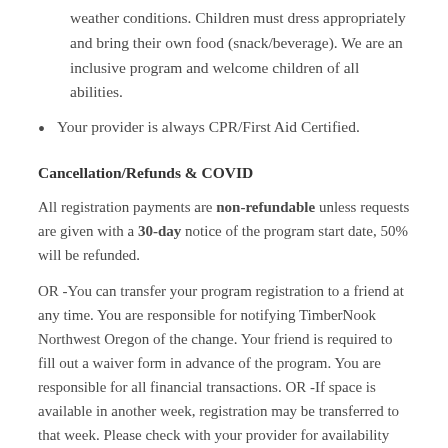weather conditions. Children must dress appropriately and bring their own food (snack/beverage). We are an inclusive program and welcome children of all abilities.
Your provider is always CPR/First Aid Certified.
Cancellation/Refunds & COVID
All registration payments are non-refundable unless requests are given with a 30-day notice of the program start date, 50% will be refunded.
OR -You can transfer your program registration to a friend at any time. You are responsible for notifying TimberNook Northwest Oregon of the change. Your friend is required to fill out a waiver form in advance of the program. You are responsible for all financial transactions. OR -If space is available in another week, registration may be transferred to that week. Please check with your provider for availability options.